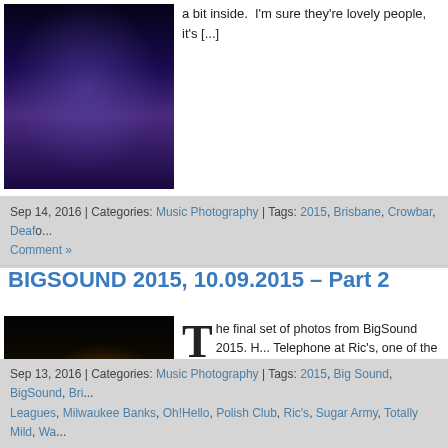[Figure (photo): Concert photo of a musician performing, blue/purple lighting]
a bit inside.  I'm sure they're lovely people, it's [...]
Sep 14, 2016 | Categories: Music Photography | Tags: 2015, Brisbane, Crowbar, Deafo... | Comment »
BIGSOUND 2015, 10.09.2015 – Part 2
[Figure (photo): Concert photo of a guitarist performing with orange/warm stage lighting]
The final set of photos from BigSound 2015. H... Telephone at Ric's, one of the pleasant surpr... as yesterday, Major Leagues and Totally Mild. I'd... they were fun to photograph as was Milwaukee B... music but really [...]
Sep 13, 2016 | Categories: Music Photography | Tags: 2015, Big Sound, BigSound, Bri... Leagues, Milwaukee Banks, Oh!Hello, Polish Club, Ric's, Sugar Army, Totally Mild, Wa...